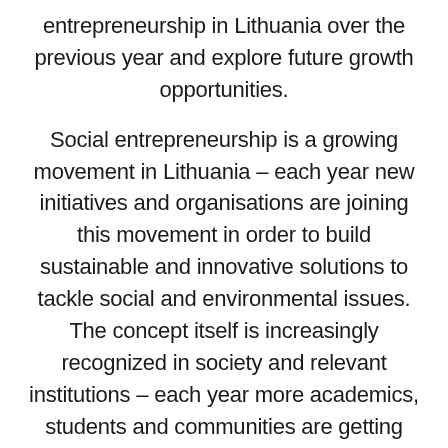entrepreneurship in Lithuania over the previous year and explore future growth opportunities.
Social entrepreneurship is a growing movement in Lithuania – each year new initiatives and organisations are joining this movement in order to build sustainable and innovative solutions to tackle social and environmental issues. The concept itself is increasingly recognized in society and relevant institutions – each year more academics, students and communities are getting involved. But there is still more work to be done, as in the last 10 years the concept was only growing and provided